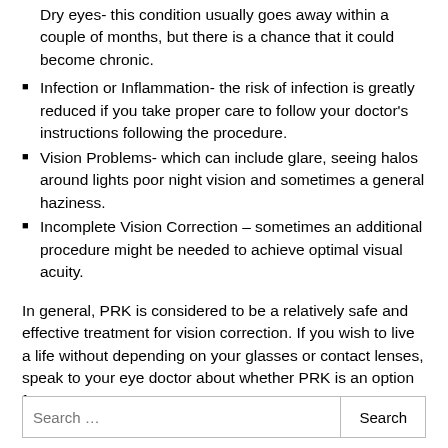Dry eyes- this condition usually goes away within a couple of months, but there is a chance that it could become chronic.
Infection or Inflammation- the risk of infection is greatly reduced if you take proper care to follow your doctor's instructions following the procedure.
Vision Problems- which can include glare, seeing halos around lights poor night vision and sometimes a general haziness.
Incomplete Vision Correction – sometimes an additional procedure might be needed to achieve optimal visual acuity.
In general, PRK is considered to be a relatively safe and effective treatment for vision correction. If you wish to live a life without depending on your glasses or contact lenses, speak to your eye doctor about whether PRK is an option for you.